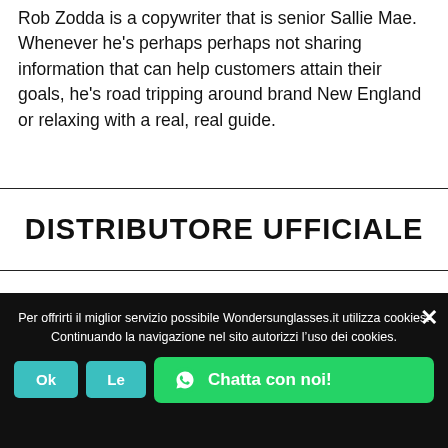Rob Zodda is a copywriter that is senior Sallie Mae. Whenever he's perhaps perhaps not sharing information that can help customers attain their goals, he's road tripping around brand New England or relaxing with a real, real guide.
DISTRIBUTORE UFFICIALE
Gli Ottici – Via Consalvo 95/c Fuorigrotta Napoli
Per offrirti il miglior servizio possibile Wondersunglasses.it utilizza cookies. Continuando la navigazione nel sito autorizzi l'uso dei cookies.
Chatta con noi!